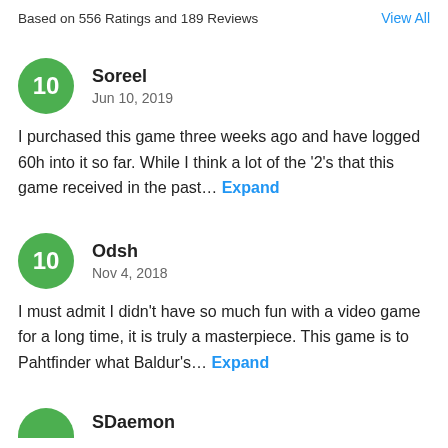Based on 556 Ratings and 189 Reviews
View All
Soreel
Jun 10, 2019
I purchased this game three weeks ago and have logged 60h into it so far. While I think a lot of the '2's that this game received in the past… Expand
Odsh
Nov 4, 2018
I must admit I didn't have so much fun with a video game for a long time, it is truly a masterpiece. This game is to Pahtfinder what Baldur's… Expand
SDaemon